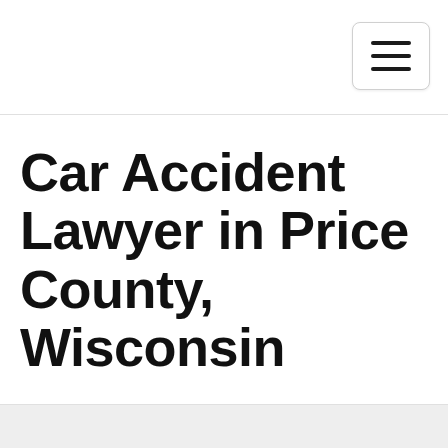Car Accident Lawyer in Price County, Wisconsin
A number of experiences make the mix of anxiety, confusion, and stress that outcomes from a car accident. So much occurs at the